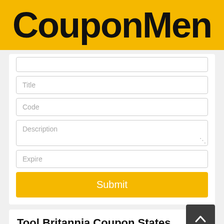[Figure (logo): CouponMen logo: black bold text on yellow/gold background]
Title
Code
Description
Expire
Submit
Tool Britannia Coupon States
All Coupons  20
Coupon Codes  1
Hot Deals  19
Best Discounts  ...